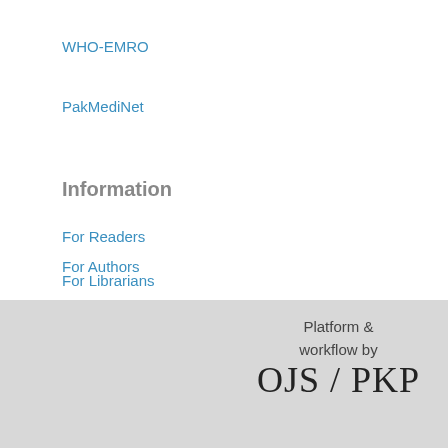WHO-EMRO
PakMediNet
Information
For Readers
For Authors
For Librarians
[Figure (logo): OJS/PKP platform and workflow logo with text 'Platform & workflow by OJS / PKP']